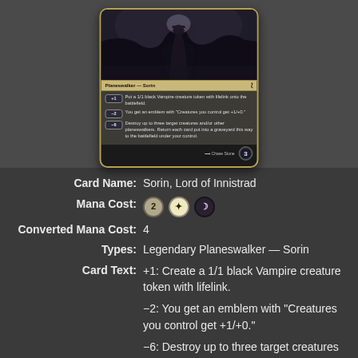[Figure (illustration): Magic: The Gathering card image for Sorin, Lord of Innistrad showing a vampire planeswalker in dark robes with card text showing +1, -2, and -6 abilities and loyalty counter of 3]
Card Name: Sorin, Lord of Innistrad
Mana Cost: 2WB
Converted Mana Cost: 4
Types: Legendary Planeswalker — Sorin
Card Text: +1: Create a 1/1 black Vampire creature token with lifelink. −2: You get an emblem with "Creatures you control get +1/+0." −6: Destroy up to three target creatures and/or other planeswalkers. Return each card put into a graveyard this way to the